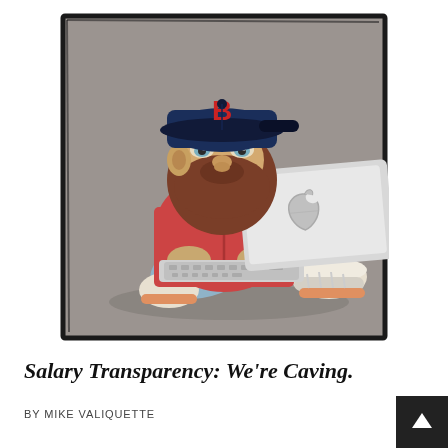[Figure (illustration): Cartoon illustration of a bearded hipster man wearing a Boston Red Sox baseball cap and red hoodie, sitting cross-legged using a MacBook laptop. He wears white and orange sneakers. The background is a gray-toned framed panel with rough black border lines.]
Salary Transparency: We're Caving.
BY MIKE VALIQUETTE